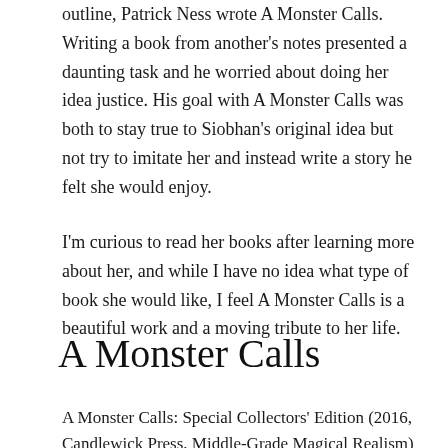outline, Patrick Ness wrote A Monster Calls. Writing a book from another's notes presented a daunting task and he worried about doing her idea justice. His goal with A Monster Calls was both to stay true to Siobhan's original idea but not try to imitate her and instead write a story he felt she would enjoy.
I'm curious to read her books after learning more about her, and while I have no idea what type of book she would like, I feel A Monster Calls is a beautiful work and a moving tribute to her life.
A Monster Calls
A Monster Calls: Special Collectors' Edition (2016, Candlewick Press, Middle-Grade Magical Realism)